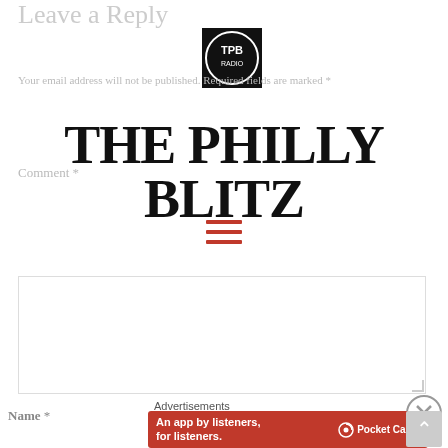Leave a Reply
[Figure (logo): TPB circular logo with text TPB on black background]
Your email address will not be published. Required fields are marked *
THE PHILLY BLITZ
[Figure (other): Hamburger menu icon with three red horizontal lines]
Comment *
[Figure (other): Comment textarea input box]
Name *
Advertisements
[Figure (other): Pocket Casts advertisement banner - An app by listeners, for listeners.]